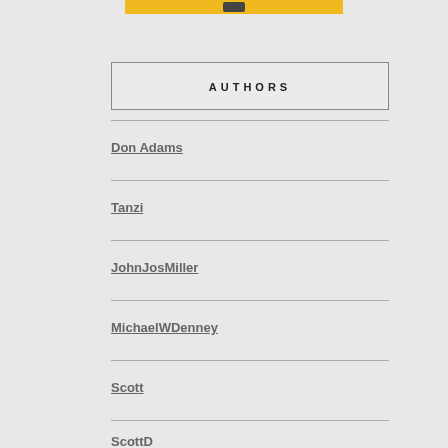[Figure (other): Top banner with yellow background and dark icon/logo element]
AUTHORS
Don Adams
Tanzi
JohnJosMiller
MichaelWDenney
Scott
ScottD